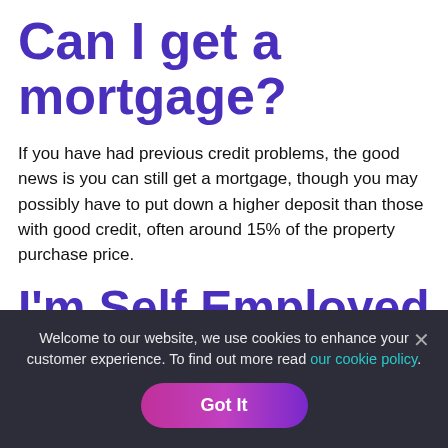Can I get a mortgage?
If you have had previous credit problems, the good news is you can still get a mortgage, though you may possibly have to put down a higher deposit than those with good credit, often around 15% of the property purchase price.
I'm Self Employed in Essex, can I get a
Welcome to our website, we use cookies to enhance your customer experience. To find out more read our cookie policy.
Got It